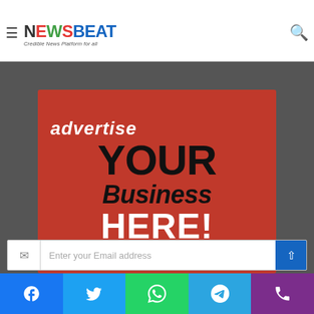Advertisement
[Figure (illustration): NewsBeat logo with hamburger menu icon on left and search icon on right. Logo text in multi-colored letters: N(dark), E(red), W(green), S(red), BEAT(blue). Tagline: Credible News Platform for all.]
[Figure (illustration): Red advertisement banner with text: advertise YOUR business HERE!]
Enter your Email address
[Figure (infographic): Social media share bar with Facebook, Twitter, WhatsApp, Telegram, and Phone icons]